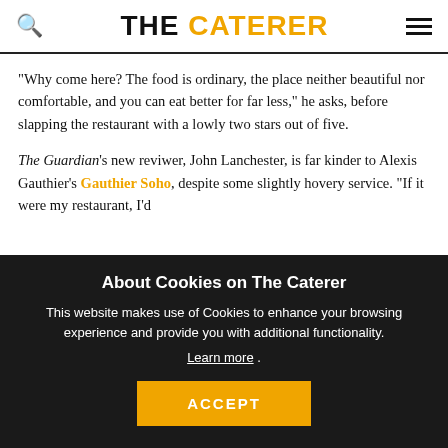THE CATERER
"Why come here? The food is ordinary, the place neither beautiful nor comfortable, and you can eat better for far less," he asks, before slapping the restaurant with a lowly two stars out of five.
The Guardian's new reviwer, John Lanchester, is far kinder to Alexis Gauthier's Gauthier Soho, despite some slightly hovery service. "If it were my restaurant, I'd
About Cookies on The Caterer
This website makes use of Cookies to enhance your browsing experience and provide you with additional functionality.
Learn more .
ACCEPT